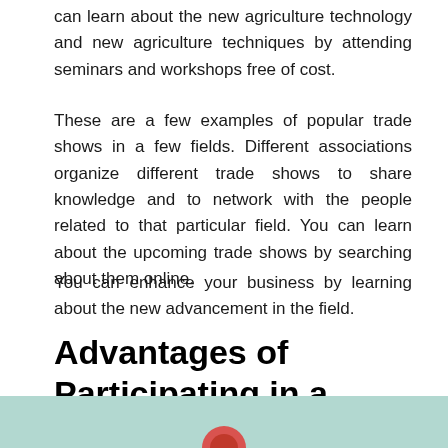can learn about the new agriculture technology and new agriculture techniques by attending seminars and workshops free of cost.
These are a few examples of popular trade shows in a few fields. Different associations organize different trade shows to share knowledge and to network with the people related to that particular field. You can learn about the upcoming trade shows by searching about them online.
You can enhance your business by learning about the new advancement in the field.
Advantages of Participating in a Trade show
[Figure (photo): Teal/green colored image strip at the bottom of the page, partially visible, appears to be the top of an image related to trade shows.]